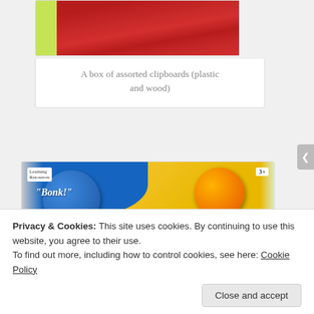[Figure (photo): Top portion of a photo showing a box of assorted clipboards (plastic and wood), with red/crimson colored clipboards visible and a yellow-green item at left edge.]
A box of assorted clipboards (plastic and wood)
[Figure (photo): Photo of a Learning Resources set of 4 buzzer buttons in blue, orange, green, and purple colors. The buzzers are labeled 'Bonk!', 'Ding!', 'Honk Honk!' and one other. Product is for ages 3+.]
Privacy & Cookies: This site uses cookies. By continuing to use this website, you agree to their use.
To find out more, including how to control cookies, see here: Cookie Policy
Close and accept